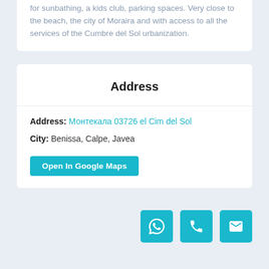for sunbathing, a kids club, parking spaces. Very close to the beach, the city of Moraira and with access to all the services of the Cumbre del Sol urbanization.
Address
Address: Монтекала 03726 el Cim del Sol
City: Benissa, Calpe, Javea
Open In Google Maps